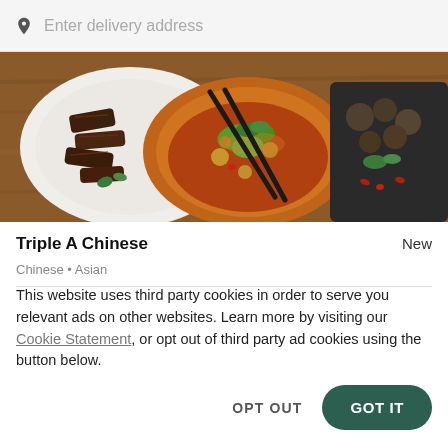Enter delivery address
[Figure (photo): Top-down view of Chinese food dishes including a bowl of vegetables and broth, grilled meat on a white plate, and small side dishes on a dark wooden surface with chopsticks]
Triple A Chinese
New
Chinese • Asian
This website uses third party cookies in order to serve you relevant ads on other websites. Learn more by visiting our Cookie Statement, or opt out of third party ad cookies using the button below.
OPT OUT
GOT IT